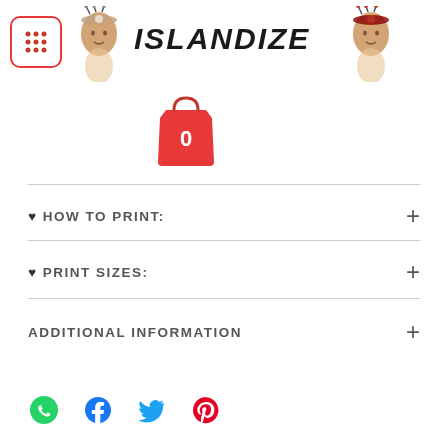[Figure (logo): Islandize logo with two mascot characters wearing traditional headdresses and the brand name ISLANDIZE in bold italic text, plus a menu icon button on the left]
[Figure (illustration): Red shopping bag icon with white number 0 indicating empty cart]
♥ HOW TO PRINT:
♥ PRINT SIZES:
ADDITIONAL INFORMATION
[Figure (infographic): Social share icons row: WhatsApp (green), Facebook (blue), Twitter (blue), Pinterest (red)]